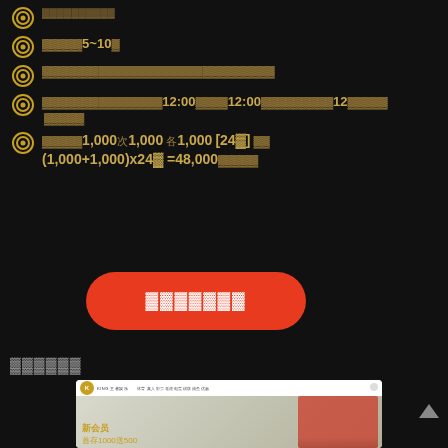（文字省略）
（文字省略）
（文字省略）5~10（文字）
（文字省略）
（文字省略）12:00（文字）12:00（文字省略）12（文字省略）
（文字省略）1,000次1,000 各1,000 [24天] 共（1,000+1,000）x24天 =48,000（文字省略）
[Figure (screenshot): Red rounded button with white text (redacted characters)]
（文字省略）
[Figure (screenshot): Screenshot of KING casino website showing basketball player and 新会员首存1000送500 promotion]